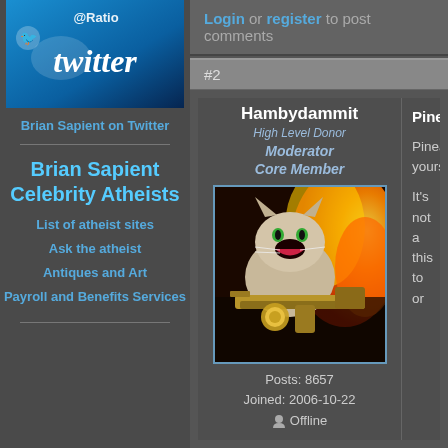[Figure (logo): Twitter logo banner with @Ratio text and bird icon, blue gradient background]
Brian Sapient on Twitter
Brian Sapient
Celebrity Atheists
List of atheist sites
Ask the atheist
Antiques and Art
Payroll and Benefits Services
Login or register to post comments
#2
Hambydammit
High Level Donor
Moderator
Core Member
[Figure (photo): Avatar image of a cat with gun and fire in background]
Posts: 8657
Joined: 2006-10-22
Offline
Pineapp
Pineappi yourself
It's not a this to or